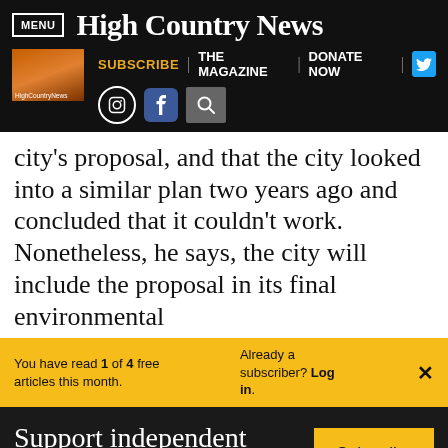MENU | High Country News | SUBSCRIBE | THE MAGAZINE | DONATE NOW
city's proposal, and that the city looked into a similar plan two years ago and concluded that it couldn't work. Nonetheless, he says, the city will include the proposal in its final environmental
You have read 1 of 4 free articles this month. Already a subscriber? Log in.
Support independent journalism. Subscribe